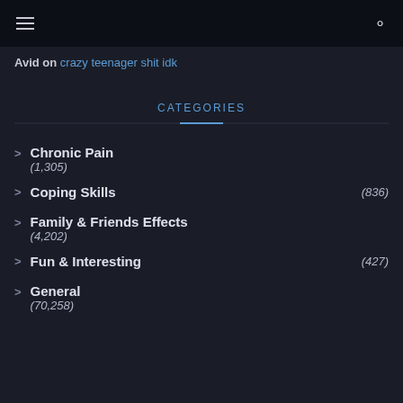≡  [search icon]
Avid on crazy teenager shit idk
CATEGORIES
> Chronic Pain (1,305)
> Coping Skills (836)
> Family & Friends Effects (4,202)
> Fun & Interesting (427)
> General (70,258)